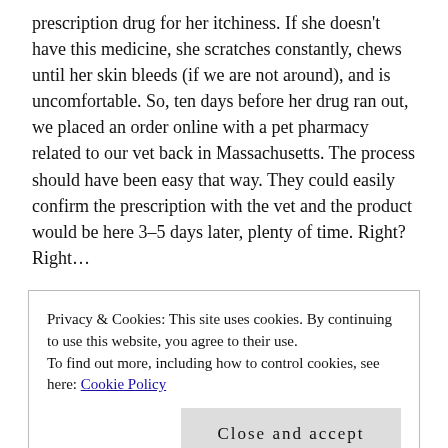prescription drug for her itchiness. If she doesn't have this medicine, she scratches constantly, chews until her skin bleeds (if we are not around), and is uncomfortable. So, ten days before her drug ran out, we placed an order online with a pet pharmacy related to our vet back in Massachusetts. The process should have been easy that way. They could easily confirm the prescription with the vet and the product would be here 3–5 days later, plenty of time. Right? Right…
Long story short… After not receiving a shipping notice for three days, Mark called them during his few hours off. Every single day. First, they hadn't contacted the vet yet, then there was an "issue" with our shipping address. One of the problems (for
Privacy & Cookies: This site uses cookies. By continuing to use this website, you agree to their use.
To find out more, including how to control cookies, see here: Cookie Policy
Close and accept
charged for the high expense of the drug, something that's